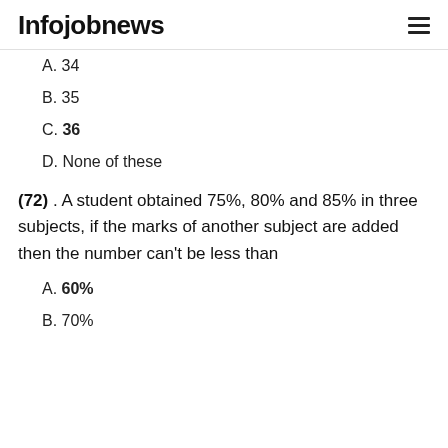Infojobnews
A. 34
B. 35
C. 36
D. None of these
(72) . A student obtained 75%, 80% and 85% in three subjects, if the marks of another subject are added then the number can't be less than
A. 60%
B. 70%